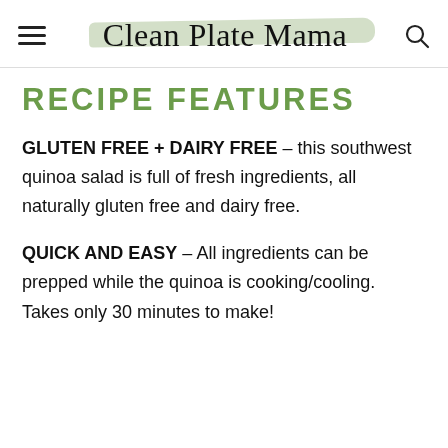Clean Plate Mama
RECIPE FEATURES
GLUTEN FREE + DAIRY FREE – this southwest quinoa salad is full of fresh ingredients, all naturally gluten free and dairy free.
QUICK AND EASY – All ingredients can be prepped while the quinoa is cooking/cooling. Takes only 30 minutes to make!